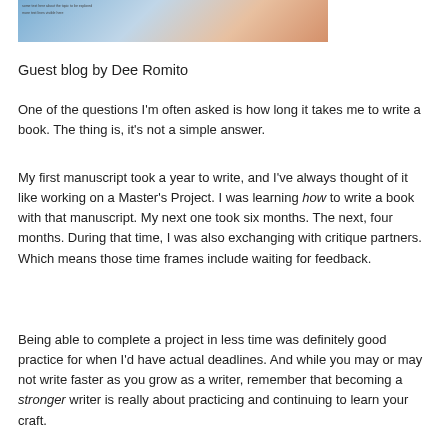[Figure (illustration): Partial view of a colorful illustrated book cover or manga-style image showing a female character with brown hair, with text overlay on the left side.]
Guest blog by Dee Romito
One of the questions I'm often asked is how long it takes me to write a book. The thing is, it's not a simple answer.
My first manuscript took a year to write, and I've always thought of it like working on a Master's Project. I was learning how to write a book with that manuscript. My next one took six months. The next, four months. During that time, I was also exchanging with critique partners. Which means those time frames include waiting for feedback.
Being able to complete a project in less time was definitely good practice for when I'd have actual deadlines. And while you may or may not write faster as you grow as a writer, remember that becoming a stronger writer is really about practicing and continuing to learn your craft.